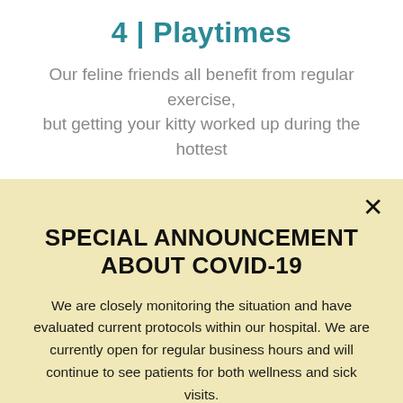4 | Playtimes
Our feline friends all benefit from regular exercise, but getting your kitty worked up during the hottest
SPECIAL ANNOUNCEMENT ABOUT COVID-19
We are closely monitoring the situation and have evaluated current protocols within our hospital. We are currently open for regular business hours and will continue to see patients for both wellness and sick visits.
READ MORE